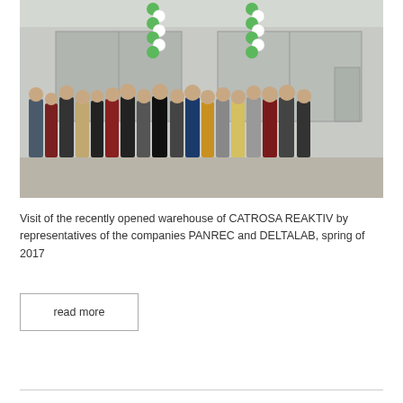[Figure (photo): Group photo of people standing in front of a warehouse building with green and white balloon columns decorating the entrance. The building has large gray garage doors. Multiple cars are visible in the background.]
Visit of the recently opened warehouse of CATROSA REAKTIV by representatives of the companies PANREC and DELTALAB, spring of 2017
read more